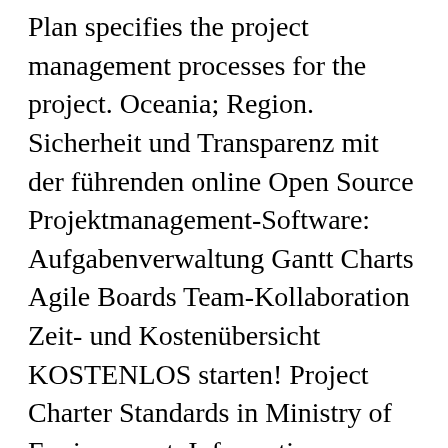Plan specifies the project management processes for the project. Oceania; Region. Sicherheit und Transparenz mit der führenden online Open Source Projektmanagement-Software: Aufgabenverwaltung Gantt Charts Agile Boards Team-Kollaboration Zeit- und Kostenübersicht KOSTENLOS starten! Project Charter Standards in Ministry of Environment, Information Management Branch. Read it now HackSpace issue 38. The damage potential of an earthquake is determined by how the ground moves and how the buildings within the affected region are constructed. Antarctica; Region. Over 600,000 local, regional and national projects out-for-bid are added to our database annually. This R tutorial describes how